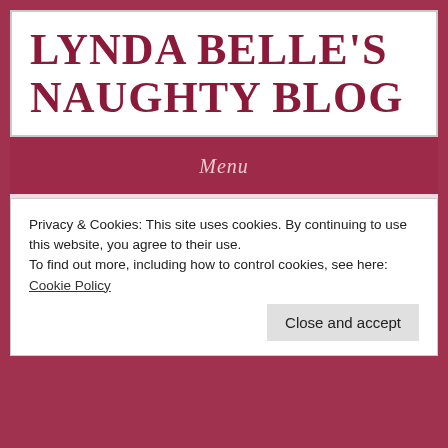LYNDA BELLE'S NAUGHTY BLOG
Menu
TAG ARCHIVE | EROTIC TOPICS
Aug
How Reviews Can Give
Privacy & Cookies: This site uses cookies. By continuing to use this website, you agree to their use.
To find out more, including how to control cookies, see here: Cookie Policy
Close and accept